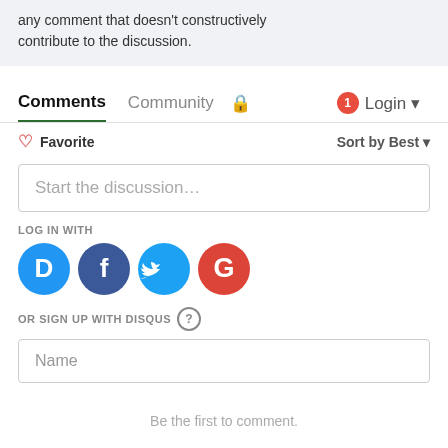any comment that doesn't constructively contribute to the discussion.
Comments   Community   🔒   1   Login ▾
♡ Favorite   Sort by Best ▾
Start the discussion…
LOG IN WITH
[Figure (infographic): Four social login icons: Disqus (blue D), Facebook (dark blue f), Twitter (light blue bird), Google (red G)]
OR SIGN UP WITH DISQUS ?
Name
Be the first to comment.